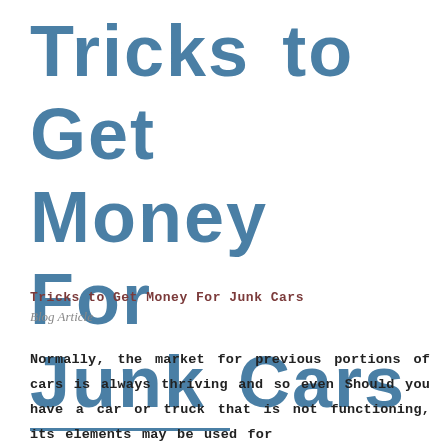Tricks to Get Money For Junk Cars
Tricks to Get Money For Junk Cars
Blog Article
Normally, the market for previous portions of cars is always thriving and so even Should you have a car or truck that is not functioning, its elements may be used for